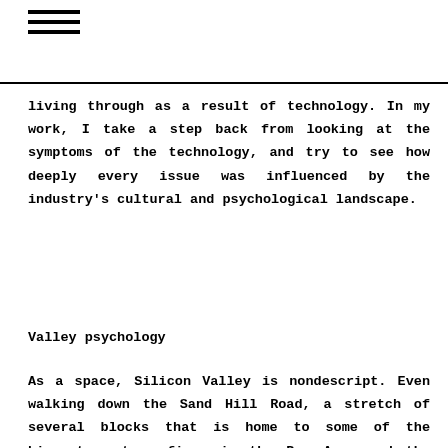≡
living through as a result of technology. In my work, I take a step back from looking at the symptoms of the technology, and try to see how deeply every issue was influenced by the industry's cultural and psychological landscape.
Valley psychology
As a space, Silicon Valley is nondescript. Even walking down the Sand Hill Road, a stretch of several blocks that is home to some of the biggest venture firms in the Bay Area and the world, is in no way ostensibly interesting. What